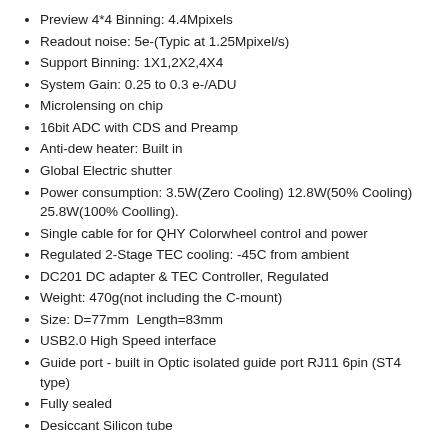Preview 4*4 Binning: 4.4Mpixels
Readout noise: 5e-(Typic at 1.25Mpixel/s)
Support Binning: 1X1,2X2,4X4
System Gain: 0.25 to 0.3 e-/ADU
Microlensing on chip
16bit ADC with CDS and Preamp
Anti-dew heater: Built in
Global Electric shutter
Power consumption: 3.5W(Zero Cooling) 12.8W(50% Cooling) 25.8W(100% Coolling).
Single cable for for QHY Colorwheel control and power
Regulated 2-Stage TEC cooling: -45C from ambient
DC201 DC adapter & TEC Controller, Regulated
Weight: 470g(not including the C-mount)
Size: D=77mm  Length=83mm
USB2.0 High Speed interface
Guide port - built in Optic isolated guide port RJ11 6pin (ST4 type)
Fully sealed
Desiccant Silicon tube
Supplier SKU
QHY22
Shipping Restrictions